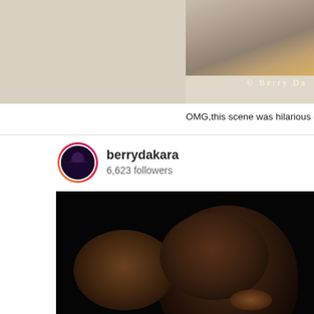[Figure (screenshot): Top portion of an Instagram post showing a partially visible photo with a tiled floor and colorful fabric/clothing on the right side, with a watermark '© Berry Da' visible]
OMG, this scene was hilarious - PROPOSAL
berrydakara
6,623 followers
[Figure (photo): Dark photograph showing two people close together, one wearing an orange/red top, with blurred foreground showing their hair/heads]